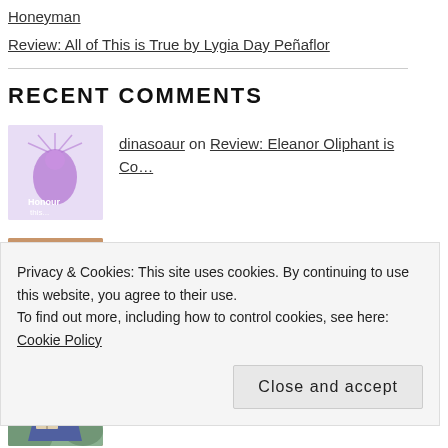Honeyman
Review: All of This is True by Lygia Day Peñaflor
RECENT COMMENTS
dinasoaur on Review: Eleanor Oliphant is Co…
Inge | The Belgian R… on Review: All of This is True by…
Kathy @ Books &… on Why I won't be attending…
Privacy & Cookies: This site uses cookies. By continuing to use this website, you agree to their use.
To find out more, including how to control cookies, see here: Cookie Policy
Close and accept